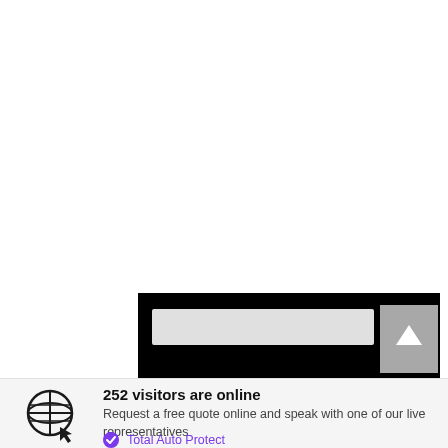[Figure (screenshot): Partial screenshot of a web browser showing a dark/black navigation bar with a search box and an upload/arrow button]
252 visitors are online
Request a free quote online and speak with one of our live representatives
Total Auto Protect